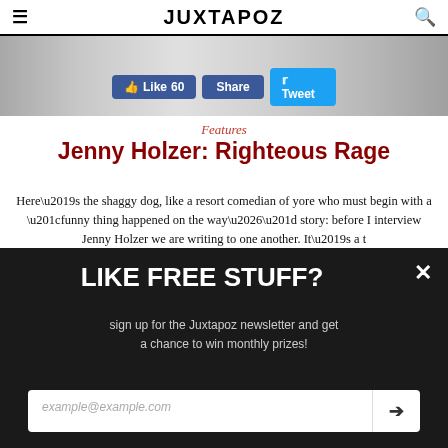JUXTAPOZ
[Figure (photo): Top banner image showing textured/grainy surfaces on left and right sides]
Like 60  Share  Tweet
Features
Jenny Holzer: Righteous Rage
Here’s the shaggy dog, like a resort comedian of yore who must begin with a “funny thing happened on the way…” story: before I interview Jenny Holzer we are writing to one another. It’s a t
June 27, 2022
[Figure (photo): Split photo showing left side with a Bobcat branded item and right side with a Toyota branded item in a workshop/storage setting]
LIKE FREE STUFF?
sign up for the Juxtapoz newsletter and get a chance to win monthly prizes!
example@example.com